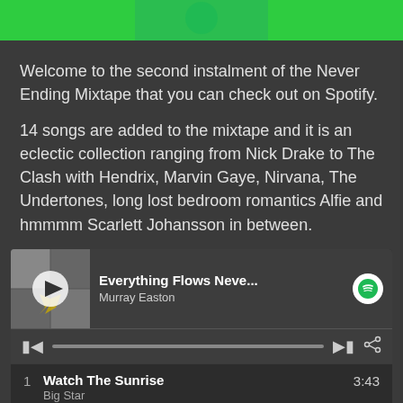[Figure (screenshot): Top portion of a green Spotify/mixtape banner image cropped at top]
Welcome to the second instalment of the Never Ending Mixtape that you can check out on Spotify.
14 songs are added to the mixtape and it is an eclectic collection ranging from Nick Drake to The Clash with Hendrix, Marvin Gaye, Nirvana, The Undertones, long lost bedroom romantics Alfie and hmmmm Scarlett Johansson in between.
[Figure (screenshot): Spotify player widget showing 'Everything Flows Neve...' by Murray Easton with playlist including: 1. Watch The Sunrise - Big Star 3:43, 2. Rock & Roll - Mono; 2015 R... - The Velvet Underground 4:37, 3. Feel so Sad - Glides and Chi... - Spiritualized 6:32]